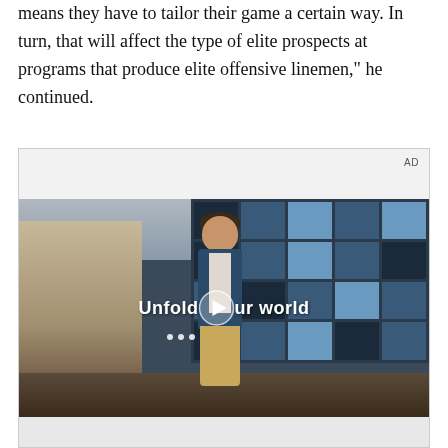means they have to tailor their game a certain way. In turn, that will affect the type of elite prospects at programs that produce elite offensive linemen," he continued.
[Figure (other): Advertisement video thumbnail showing a teenager in a blue denim jacket walking through what appears to be a cafeteria or food court with large tiled windows in the background. A play button is overlaid on the image with the text 'Unfold your world'. Labeled 'AD' in the top right corner.]